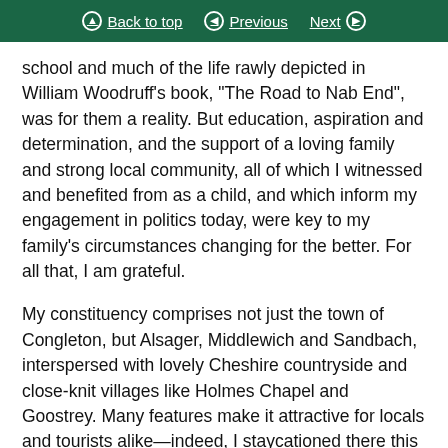Back to top  Previous  Next
school and much of the life rawly depicted in William Woodruff’s book, “The Road to Nab End”, was for them a reality. But education, aspiration and determination, and the support of a loving family and strong local community, all of which I witnessed and benefited from as a child, and which inform my engagement in politics today, were key to my family’s circumstances changing for the better. For all that, I am grateful.
My constituency comprises not just the town of Congleton, but Alsager, Middlewich and Sandbach, interspersed with lovely Cheshire countryside and close-knit villages like Holmes Chapel and Goostrey. Many features make it attractive for locals and tourists alike—indeed, I staycationed there this